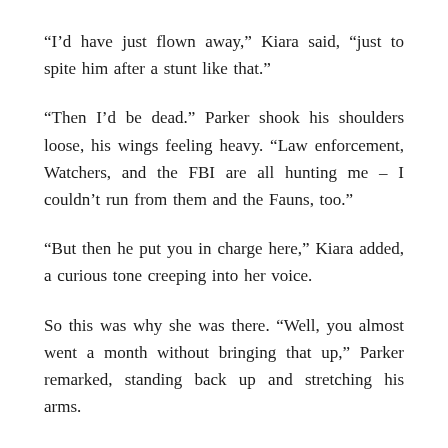“I’d have just flown away,” Kiara said, “just to spite him after a stunt like that.”
“Then I’d be dead.” Parker shook his shoulders loose, his wings feeling heavy. “Law enforcement, Watchers, and the FBI are all hunting me – I couldn’t run from them and the Fauns, too.”
“But then he put you in charge here,” Kiara added, a curious tone creeping into her voice.
So this was why she was there. “Well, you almost went a month without bringing that up,” Parker remarked, standing back up and stretching his arms.
Kiara stood up, too. “You’re at the top of the Eon City